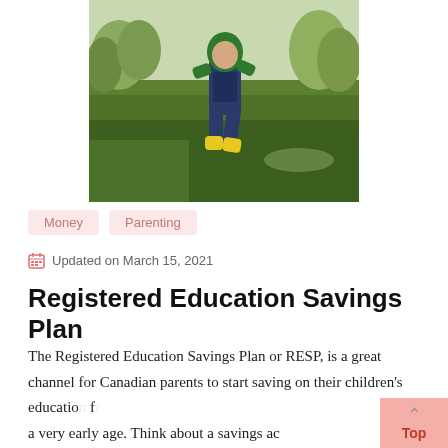[Figure (photo): A young child in green jacket, navy overalls, and yellow rain boots running or jumping on a green lawn in a garden setting.]
Money   Parenting
Updated on March 15, 2021
Registered Education Savings Plan
The Registered Education Savings Plan or RESP, is a great channel for Canadian parents to start saving on their children's education from a very early age. Think about a savings ac